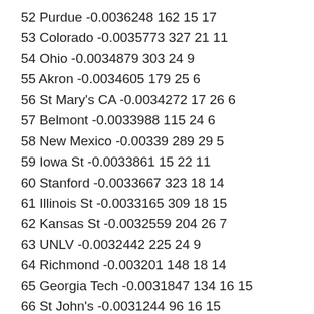52 Purdue -0.0036248 162 15 17
53 Colorado -0.0035773 327 21 11
54 Ohio -0.0034879 303 24 9
55 Akron -0.0034605 179 25 6
56 St Mary's CA -0.0034272 17 26 6
57 Belmont -0.0033988 115 24 6
58 New Mexico -0.00339 289 29 5
59 Iowa St -0.0033861 15 22 11
60 Stanford -0.0033667 323 18 14
61 Illinois St -0.0033165 309 18 15
62 Kansas St -0.0032559 204 26 7
63 UNLV -0.0032442 225 24 9
64 Richmond -0.003201 148 18 14
65 Georgia Tech -0.0031847 134 16 15
66 St John's -0.0031244 96 16 15
67 San Diego St -0.0030019 54 20 10